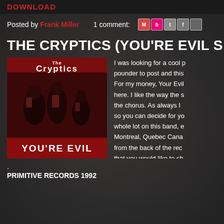DOWNLOAD
Posted by Frank Miller    1 comment:
THE CRYPTICS (YOU'RE EVIL S
[Figure (photo): Album cover for The Cryptics 'You're Evil' — dark red background showing band members in black and white photo, with 'The Cryptics' text at top and 'YOU'RE EVIL' text at bottom]
I was looking for a cool p pounder to post and this For my money, Your Evil here. I like the way the s the chorus. As always I so you can decide for yo whole lot on this band, e Montreal, Quebec Cana from the back of the rec that you would like to sh
.
PRIMITIVE RECORDS 1992